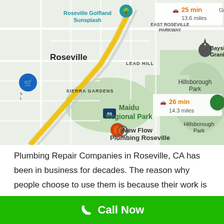[Figure (map): Google Maps screenshot showing Roseville area with markers for New Flow Plumbing Roseville, Bayside Church - Granite Bay Campus, Roseville Golfland Sunsplash, Maidu Regional Park, Hillsborough Park, and distance indicators (25 min 13.6 miles, 26 min 14.3 miles). Interstate 80 visible running through the map.]
Plumbing Repair Companies in Roseville, CA has been in business for decades. The reason why people choose to use them is because their work is guaranteed. If something goes wrong with the plumbing system, they
Call Now